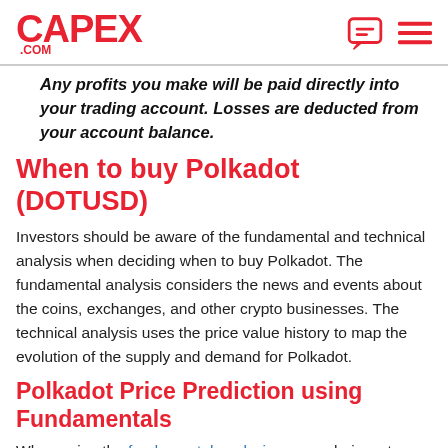CAPEX.COM
Any profits you make will be paid directly into your trading account. Losses are deducted from your account balance.
When to buy Polkadot (DOTUSD)
Investors should be aware of the fundamental and technical analysis when deciding when to buy Polkadot. The fundamental analysis considers the news and events about the coins, exchanges, and other crypto businesses. The technical analysis uses the price value history to map the evolution of the supply and demand for Polkadot.
Polkadot Price Prediction using Fundamentals
When using the fundamental analysis approach, investors should be aware of the government regulation, latest